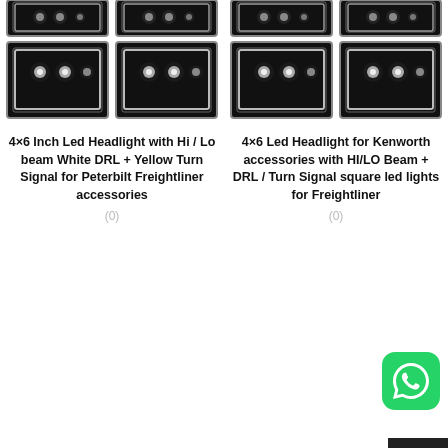[Figure (photo): Product image showing 4 LED headlights in a 2x2 grid (partially cropped at top), black square headlights with LED elements and white halo rings]
4×6 Inch Led Headlight with Hi / Lo beam White DRL + Yellow Turn Signal for Peterbilt Freightliner accessories
(0)
[Figure (photo): Product image for 4x6 LED headlight for Kenworth (partially cropped at top)]
4×6 Led Headlight for Kenworth accessories with HI/LO Beam + DRL / Turn Signal square led lights for Freightliner
(0)
[Figure (logo): WhatsApp icon - green rounded square with white phone/chat logo]